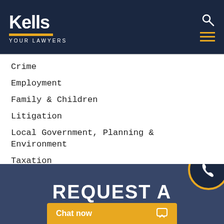[Figure (logo): Kells Your Lawyers logo — white bold text on dark navy background with gold underline and 'YOUR LAWYERS' tagline in spaced caps]
Crime
Employment
Family & Children
Litigation
Local Government, Planning & Environment
Taxation
Wills, Estate Planning & Trusts
News
REQUEST A
Chat now